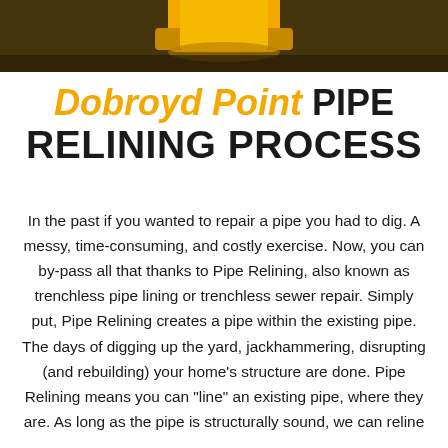[Figure (photo): Top banner image showing a dark olive/brown background with a yellow/orange pipe fitting or connector element visible at the top center of the image.]
Dobroyd Point PIPE RELINING PROCESS
In the past if you wanted to repair a pipe you had to dig. A messy, time-consuming, and costly exercise. Now, you can by-pass all that thanks to Pipe Relining, also known as trenchless pipe lining or trenchless sewer repair. Simply put, Pipe Relining creates a pipe within the existing pipe. The days of digging up the yard, jackhammering, disrupting (and rebuilding) your home's structure are done. Pipe Relining means you can "line" an existing pipe, where they are. As long as the pipe is structurally sound, we can reline